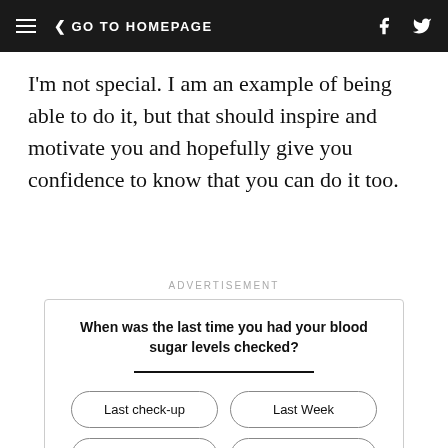≡ < GO TO HOMEPAGE
I'm not special. I am an example of being able to do it, but that should inspire and motivate you and hopefully give you confidence to know that you can do it too.
ADVERTISEMENT
When was the last time you had your blood sugar levels checked?
Last check-up | Last Week | Today | Unsure